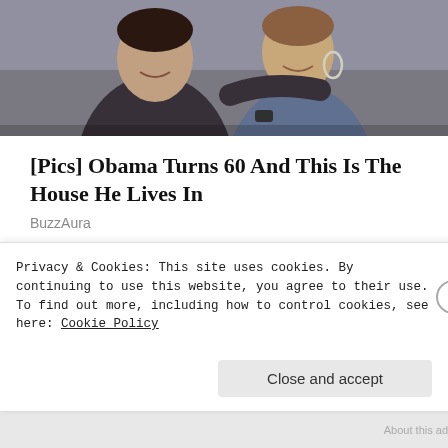[Figure (photo): Two people smiling closely together, outdoor setting, one wearing a dark jacket and the other wearing a blue/purple top with hoop earrings]
[Pics] Obama Turns 60 And This Is The House He Lives In
BuzzAura
Share this:
Share
Privacy & Cookies: This site uses cookies. By continuing to use this website, you agree to their use.
To find out more, including how to control cookies, see here: Cookie Policy
Close and accept